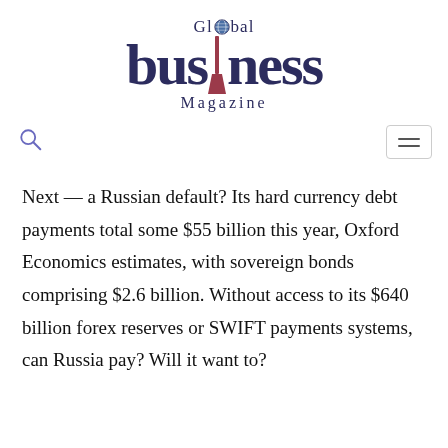Global Business Magazine
Next — a Russian default? Its hard currency debt payments total some $55 billion this year, Oxford Economics estimates, with sovereign bonds comprising $2.6 billion. Without access to its $640 billion forex reserves or SWIFT payments systems, can Russia pay? Will it want to?